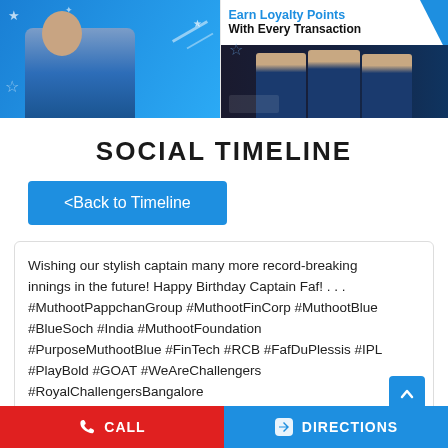[Figure (infographic): Two promotional banners side by side: left banner shows a woman in blue background with decorative stars; right banner shows 'Earn Loyalty Points With Every Transaction' text with cricket players in dark uniform]
SOCIAL TIMELINE
<Back to Timeline
Wishing our stylish captain many more record-breaking innings in the future! Happy Birthday Captain Faf! . . . #MuthootPappchanGroup #MuthootFinCorp #MuthootBlue #BlueSoch #India #MuthootFoundation #PurposeMuthootBlue #FinTech #RCB #FafDuPlessis #IPL #PlayBold #GOAT #WeAreChallengers #RoyalChallengersBangalore
#MuthootPappchanGroup
CALL   DIRECTIONS